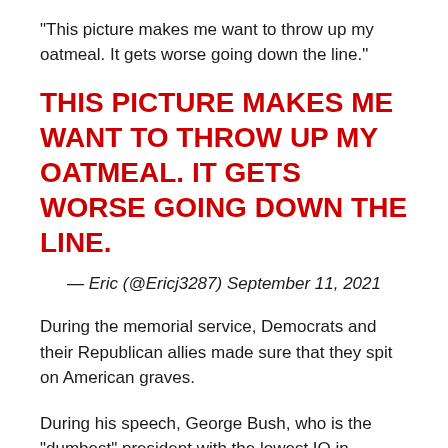“This picture makes me want to throw up my oatmeal. It gets worse going down the line.”
THIS PICTURE MAKES ME WANT TO THROW UP MY OATMEAL. IT GETS WORSE GOING DOWN THE LINE.
— Eric (@Ericj3287) September 11, 2021
During the memorial service, Democrats and their Republican allies made sure that they spit on American graves.
During his speech, George Bush, who is the “dumbest” president with the lowest IQ in modern history, compared January 6th Capitol rioters to Islamic terrorists who hijacked planes and caused the iconic Twin Tower...